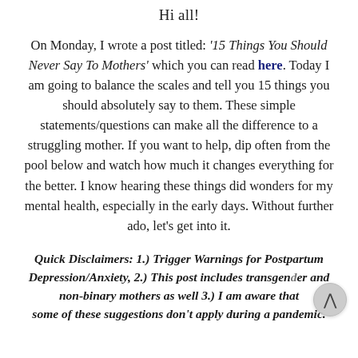Hi all!
On Monday, I wrote a post titled: '15 Things You Should Never Say To Mothers' which you can read here. Today I am going to balance the scales and tell you 15 things you should absolutely say to them. These simple statements/questions can make all the difference to a struggling mother. If you want to help, dip often from the pool below and watch how much it changes everything for the better. I know hearing these things did wonders for my mental health, especially in the early days. Without further ado, let's get into it.
Quick Disclaimers: 1.) Trigger Warnings for Postpartum Depression/Anxiety, 2.) This post includes transgender and non-binary mothers as well 3.) I am aware that some of these suggestions don't apply during a pandemic.